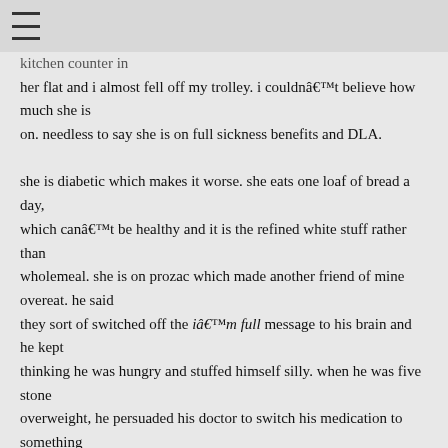≡
kitchen counter in her flat and i almost fell off my trolley. i couldnât believe how much she is on. needless to say she is on full sickness benefits and DLA.

She is diabetic which makes it worse. she eats one loaf of bread a day, which canât be healthy and it is the refined white stuff rather than wholemeal. she is on prozac which made another friend of mine overeat. he said they sort of switched off the iâm full message to his brain and he kept thinking he was hungry and stuffed himself silly. when he was five stone overweight, he persuaded his doctor to switch his medication to something else. he promptly managed to shed five stone with the help